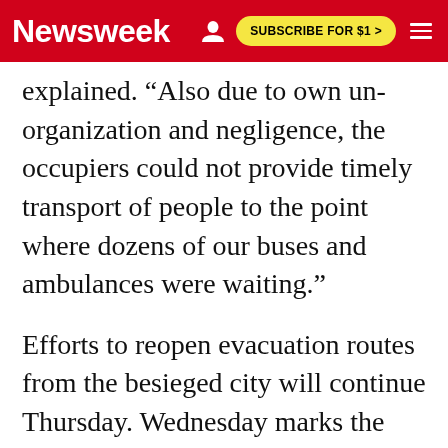Newsweek | SUBSCRIBE FOR $1 >
explained. "Also due to own un-organization and negligence, the occupiers could not provide timely transport of people to the point where dozens of our buses and ambulances were waiting."
Efforts to reopen evacuation routes from the besieged city will continue Thursday. Wednesday marks the fourth day of failed attempts to open humanitarian corridors in several locations. Previous efforts were thwarted as Russian forces attacked and